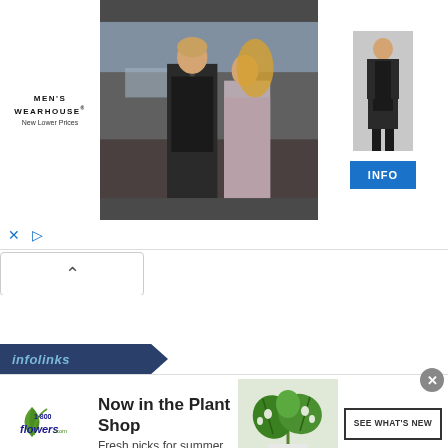[Figure (screenshot): Men's Wearhouse advertisement banner showing a couple in formal wear (man in dark suit with woman in evening dress) and a man in a dark suit on the right side. Has 'MEN'S WEARHOUSE New Lower Prices' branding on the left and a blue INFO button on the right.]
[Figure (screenshot): Ad control bar with blue X close icon and blue play/triangle icon]
[Figure (screenshot): Collapse button with upward chevron arrow]
[Figure (screenshot): infolinks badge/logo bar in dark navy with angled right edge]
[Figure (screenshot): 1-800-Flowers.com advertisement banner: logo on left, 'Now in the Plant Shop / Fresh picks for summer' text in middle, monstera plant photo, and 'SEE WHAT'S NEW' button on right. Has circular X close button top right.]